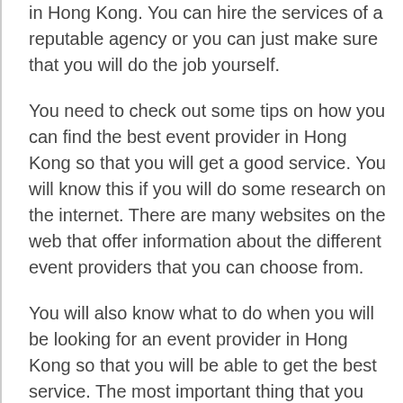in Hong Kong. You can hire the services of a reputable agency or you can just make sure that you will do the job yourself.
You need to check out some tips on how you can find the best event provider in Hong Kong so that you will get a good service. You will know this if you will do some research on the internet. There are many websites on the web that offer information about the different event providers that you can choose from.
You will also know what to do when you will be looking for an event provider in Hong Kong so that you will be able to get the best service. The most important thing that you have to do is to read the reviews that other customers have written about the event provider in order to get an idea about what you will get from them. It would be very useful for you to see their previous work. There are lots of people who write reviews